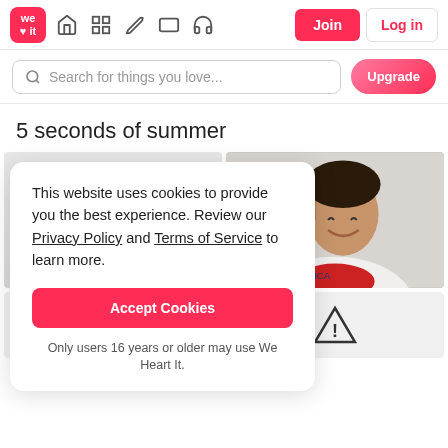We Heart It - Join | Log in
Search for things you love...
5 seconds of summer
[Figure (photo): Two image thumbnails side by side: a partially visible left image and a photo of a smiling young man wearing a white t-shirt with red trim and text '1986NCA', with dark curly hair, indoor setting]
This website uses cookies to provide you the best experience. Review our Privacy Policy and Terms of Service to learn more.
Accept Cookies
Only users 16 years or older may use We Heart It.
[Figure (other): Two warning triangle icons (exclamation mark inside triangle) at the bottom of the page on gray placeholder cells]